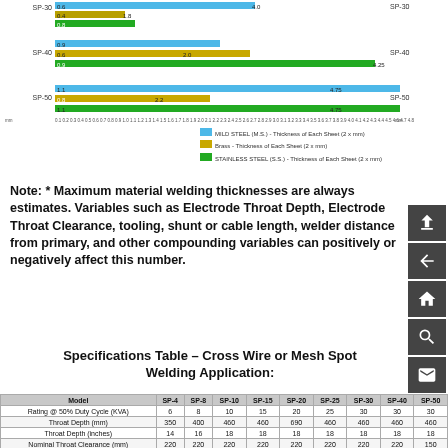[Figure (bar-chart): Material Welding Thicknesses]
Note: * Maximum material welding thicknesses are always estimates. Variables such as Electrode Throat Depth, Electrode Throat Clearance, tooling, shunt or cable length, welder distance from primary, and other compounding variables can positively or negatively affect this number.
Specifications Table - Cross Wire or Mesh Spot Welding Application:
| Model | SP-4 | SP-8 | SP-10 | SP-15 | SP-20 | SP-25 | SP-30 | SP-40 | SP-50 |
| --- | --- | --- | --- | --- | --- | --- | --- | --- | --- |
| Rating @ 50% Duty Cycle (KVA) | 6 | 8 | 10 | 15 | 20 | 25 | 30 | 30 | 30 |
| Throat Depth (mm) | 350 | 400 | 460 | 460 | 690 | 460 | 460 | 460 | 460 |
| Throat Depth (inches) | 14 | 16 | 18 | 18 | 18 | 18 | 18 | 18 | 18 |
| Nominal Throat Clearance (mm) | 220 | 220 | 220 | 220 | 220 | 220 | 220 | 220 | 150 |
| Nominal Throat Clearance (inches) | 8.6 | 8.8 | 8.6 | 8.6 | 8.8 | 8.8 | 8.8 | 8.6 | 14 |
| Model | SP-4 | SP-8 | SP-10 | SP-15 | SP-20 | SP-25 | SP-30 | SP-40 | SP-50 |